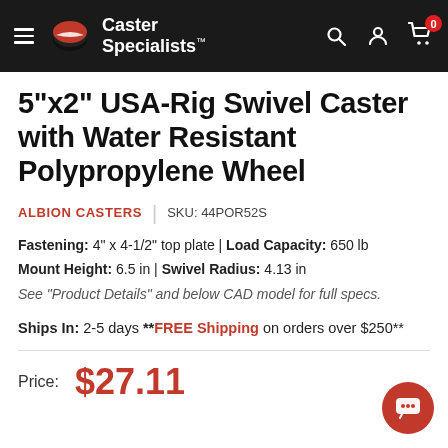Caster Specialists
5"x2" USA-Rig Swivel Caster with Water Resistant Polypropylene Wheel
ALBION CASTERS | SKU: 44POR52S
Fastening: 4" x 4-1/2" top plate | Load Capacity: 650 lb
Mount Height: 6.5 in | Swivel Radius: 4.13 in
See "Product Details" and below CAD model for full specs.
Ships In: 2-5 days **FREE Shipping on orders over $250**
Price: $27.11